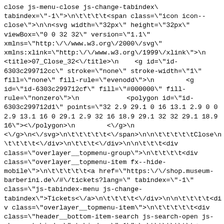close js-menu-close js-change-tabindex\ tabindex=\"-1\">\n\t\t\t\t<span class=\"icon icon--close\">\n\n<svg width=\"32px\" height=\"32px\" viewBox=\"0 0 32 32\" version=\"1.1\" xmlns=\"http:\/\/www.w3.org\/2000\/svg\" xmlns:xlink=\"http:\/\/www.w3.org\/1999\/xlink\">\n <title>07_Close_32<\/title>\n    <g id=\"id-6303c299712cc\" stroke=\"none\" stroke-width=\"1\" fill=\"none\" fill-rule=\"evenodd\">\n        <g id=\"id-6303c299712cf\" fill=\"#000000\" fill-rule=\"nonzero\">\n            <polygon id=\"id-6303c299712d1\" points=\"32 2.9 29.1 0 16 13.1 2.9 0 0 2.9 13.1 16 0 29.1 2.9 32 16 18.9 29.1 32 32 29.1 18.9 16\"><\/polygon>\n        <\/g>\n <\/g>\n<\/svg>\n\t\t\t\t<\/span>\n\n\t\t\t\t\tClose\n \t\t\t\t<\/div>\n\t\t\t<\/div>\n\n\t\t\t<div class=\"overlayer__topmenu-group\">\n\t\t\t\t<div class=\"overlayer__topmenu-item fx--hide-mobile\">\n\t\t\t\t\t<a href=\"https:\/\/shop.museum-barberini.de\/#\/tickets?lang=\" tabindex=\"-1\" class=\"js-tabindex-menu js-change-tabindex\">Tickets<\/a>\n\t\t\t\t<\/div>\n\n\t\t\t\t<div class=\"overlayer__topmenu-item\">\n\t\t\t\t\t<div class=\"header__bottom-item-search js-search-open js-change-tabindex\" tabindex=\"-1\">\n\t\t\t\t\t\t<span class=\"icon icon--search\">\n\n<svg width=\"32px\" height=\"32px\" viewBox=\"0 0 32 32\" version=\"1.1\" xmlns=\"http:\/\/www.w3.org\/2000\/svg\" xmlns:xlink=\"http:\/\/www.w3.org\/1999\/xlink\">\n <title>05_Search_32<\/title>\n    <g id=\"id-6303c299712337\" stroke=\"none\" stroke-width=\"1\"